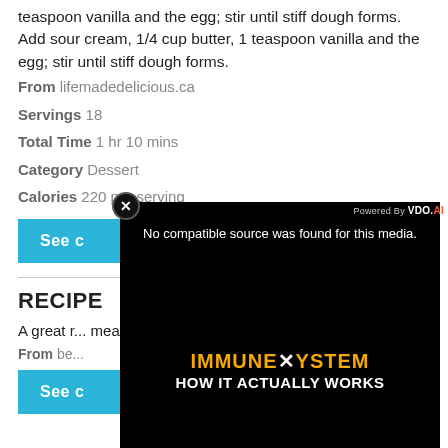teaspoon vanilla and the egg; stir until stiff dough forms. Add sour cream, 1/4 cup butter, 1 teaspoon vanilla and the egg; stir until stiff dough forms.
From lifemadedelicious.ca
Servings 18
Total Time 1 hr 10 mins
Category Dessert
Calories 220 per serving
See c...
RECIPE
A great r... meal. Br... search b... for inspir...
From be...
See c...
[Figure (screenshot): Video player overlay showing 'No compatible source was found for this media.' with dark background showing 'IMMUNE SYSTEM HOW IT ACTUALLY WORKS' graphic. Includes close button (x) and 'Powered By VDO.AI' label.]